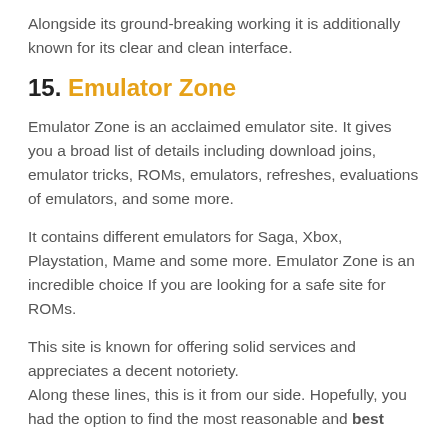Alongside its ground-breaking working it is additionally known for its clear and clean interface.
15. Emulator Zone
Emulator Zone is an acclaimed emulator site. It gives you a broad list of details including download joins, emulator tricks, ROMs, emulators, refreshes, evaluations of emulators, and some more.
It contains different emulators for Saga, Xbox, Playstation, Mame and some more. Emulator Zone is an incredible choice If you are looking for a safe site for ROMs.
This site is known for offering solid services and appreciates a decent notoriety.
Along these lines, this is it from our side. Hopefully, you had the option to find the most reasonable and best